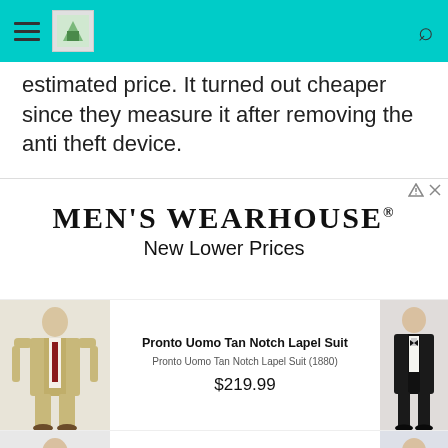Navigation bar with hamburger menu, logo, and search icon
estimated price. It turned out cheaper since they measure it after removing the anti theft device.
[Figure (screenshot): Men's Wearhouse advertisement banner with logo, 'New Lower Prices' tagline, and product listings including Pronto Uomo Tan Notch Lapel Suit at $219.99 and Pronto Uomo Gray Notch Lapel Suit]